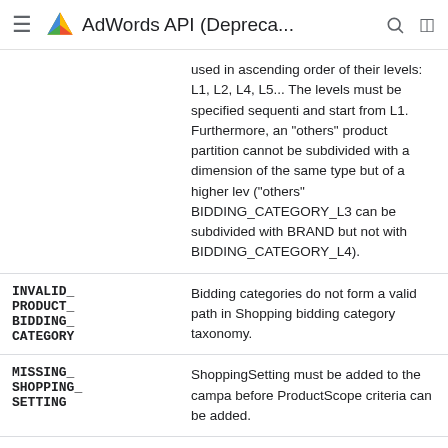AdWords API (Depreca...
| Code | Description |
| --- | --- |
|  | used in ascending order of their levels: L1, L2, L4, L5... The levels must be specified sequentially and start from L1. Furthermore, an "others" product partition cannot be subdivided with a dimension of the same type but of a higher level ("others" BIDDING_CATEGORY_L3 can be subdivided with BRAND but not with BIDDING_CATEGORY_L4). |
| INVALID_
PRODUCT_
BIDDING_
CATEGORY | Bidding categories do not form a valid path in Shopping bidding category taxonomy. |
| MISSING_
SHOPPING_
SETTING | ShoppingSetting must be added to the campaign before ProductScope criteria can be added. |
| INVALID_
MATCHING_
FUNCTION | Matching function is invalid. |